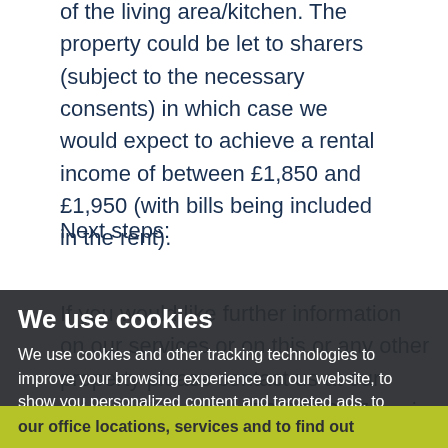of the living area/kitchen. The property could be let to sharers (subject to the necessary consents) in which case we would expect to achieve a rental income of between £1,850 and £1,950 (with bills being included in the rent).
Next steps:
If you would like further information on our services or on this or any other property please contact us at our Bristol office on 01179 55 10 17 or via email at enquiries@piperproperty.co.uk. Alternatively please visit our website www.piperproperty.co.uk for information on our office locations, services and to find out
We use cookies
We use cookies and other tracking technologies to improve your browsing experience on our website, to show you personalized content and targeted ads, to analyze our website traffic, and to understand where our visitors are coming from.